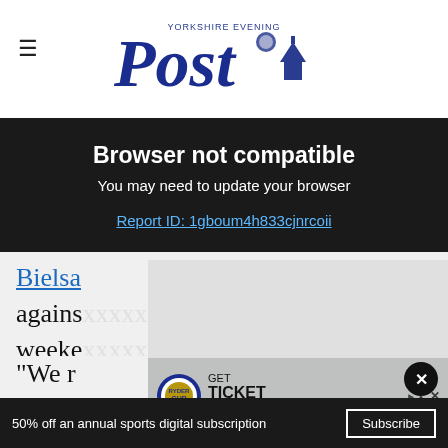Yorkshire Evening Post
[Figure (screenshot): Browser not compatible overlay with message: You may need to update your browser. Report ID: 1gboum4h833cjnrcoii]
Bielsa ... olved against ... weekend ... un- out for ... ng.
[Figure (screenshot): Ryder Cup advertisement: GET TICKET UPDATES]
We r... n said a...
50% off an annual sports digital subscription  Subscribe